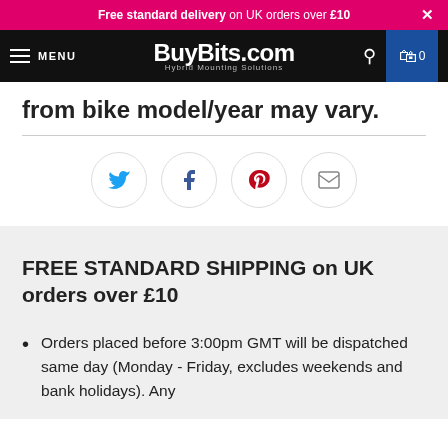Free standard delivery on UK orders over £10
[Figure (screenshot): BuyBits.com navigation bar with menu, logo, search, and cart icons]
from bike model/year may vary.
[Figure (infographic): Social share icons: Twitter, Facebook, Pinterest, Email]
FREE STANDARD SHIPPING on UK orders over £10
Orders placed before 3:00pm GMT will be dispatched same day (Monday - Friday, excludes weekends and bank holidays). Any